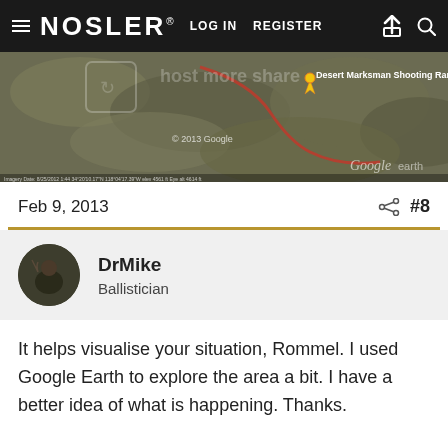NOSLER® LOG IN REGISTER
[Figure (screenshot): Google Earth satellite map screenshot showing terrain with a red path marked, a yellow pushpin labeled 'Desert Marksman Shooting Range', copyright 2013 Google, Google Earth logo visible]
Feb 9, 2013   #8
DrMike
Ballistician
It helps visualise your situation, Rommel. I used Google Earth to explore the area a bit. I have a better idea of what is happening. Thanks.